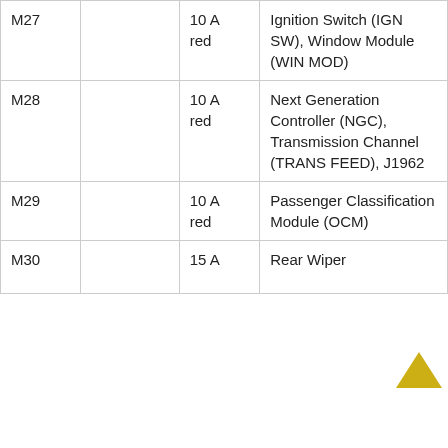| Fuse | Description | Rating/Color | Protected Component |
| --- | --- | --- | --- |
| M27 |  | 10 A red | Ignition Switch (IGN SW), Window Module (WIN MOD) |
| M28 |  | 10 A red | Next Generation Controller (NGC), Transmission Channel (TRANS FEED), J1962 |
| M29 |  | 10 A red | Passenger Classification Module (OCM) |
| M30 |  | 15 A | Rear Wiper |